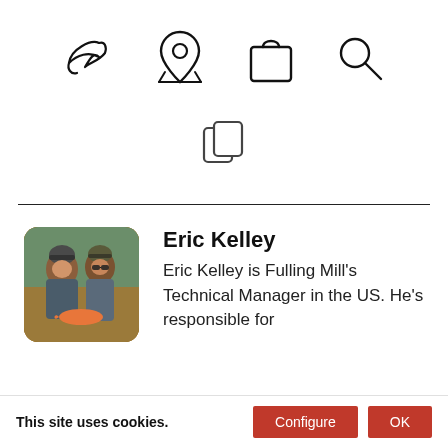[Figure (screenshot): Website header icons: fishing fly logo, map pin icon, shopping bag icon, search/magnifying glass icon]
[Figure (screenshot): Copy/clipboard icon]
[Figure (photo): Photo of two men in fishing gear and sunglasses, outdoors, holding a fish]
Eric Kelley
Eric Kelley is Fulling Mill's Technical Manager in the US. He's responsible for
This site uses cookies.
Configure
OK